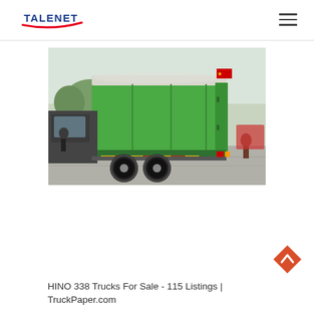TALENET
[Figure (photo): Rear three-quarter view of a green Hino dump truck with a covered green cargo bed, photographed at an outdoor event or exhibition. The truck has dual rear axles and a yellow/red hazard marking on the rear bumper.]
HINO 338 Trucks For Sale - 115 Listings | TruckPaper.com